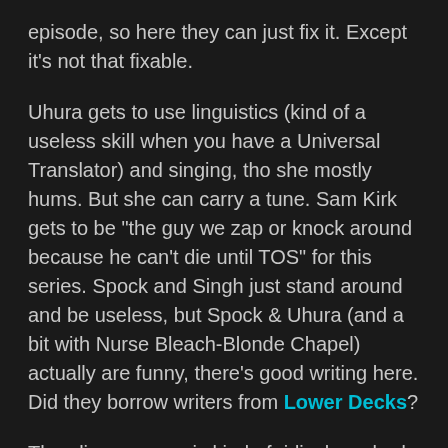episode, so here they can just fix it. Except it's not that fixable.
Uhura gets to use linguistics (kind of a useless skill when you have a Universal Translator) and singing, tho she mostly hums. But she can carry a tune. Sam Kirk gets to be "the guy we zap or knock around because he can't die until TOS" for this series. Spock and Singh just stand around and be useless, but Spock & Uhura (and a bit with Nurse Bleach-Blonde Chapel) actually are funny, there's good writing here. Did they borrow writers from Lower Decks?
The alien menace is kind of ridiculous, bad face on the screen, weird shapeship that doesn't make